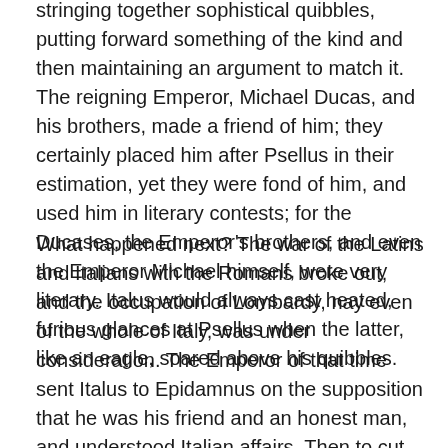stringing together sophistical quibbles, putting forward something of the kind and then maintaining an argument to match it. The reigning Emperor, Michael Ducas, and his brothers, made a friend of him; they certainly placed him after Psellus in their estimation, yet they were fond of him, and used him in literary contests; for the Ducases, the Emperor's brothers, and even the Emperor Michael himself, were very literary. Italus would always cast heated, furious glances at Psellus when the latter, like an eagle, soared above his quibbles.
What happened next? The war of the Latins and Italians with the Romans broke out, and the occupation of Lombardy, nay even of the whole of Italy, was under consideration. The Emperor of that time sent Italus to Epidamnus on the supposition that he was his friend and an honest man, and understood Italian affairs. Then to cut my story short, he was detected in treachery to us and an